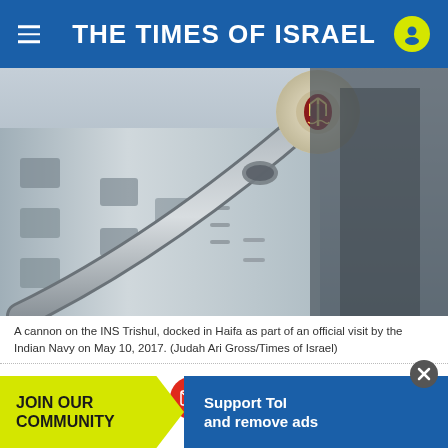THE TIMES OF ISRAEL
[Figure (photo): Close-up photograph of a cannon on the INS Trishul naval vessel, showing the barrel with a naval emblem/crest on the end, against a grey ship hull background.]
A cannon on the INS Trishul, docked in Haifa as part of an official visit by the Indian Navy on May 10, 2017. (Judah Ari Gross/Times of Israel)
[Figure (infographic): Social sharing icons row: Facebook (blue), Twitter (light blue), LinkedIn (dark blue), Email (red), WhatsApp (green)]
HAIFA — ... ight
JOIN OUR COMMUNITY   Support ToI and remove ads